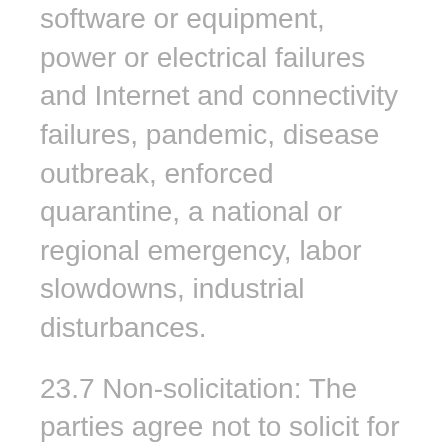software or equipment, power or electrical failures and Internet and connectivity failures, pandemic, disease outbreak, enforced quarantine, a national or regional emergency, labor slowdowns, industrial disturbances.
23.7 Non-solicitation: The parties agree not to solicit for employment or enter into consultant relationships with employees or consultants of each other party during the Term and 12 months after the termination of this Agreement.
.
23.8 Delay: In the event the performance